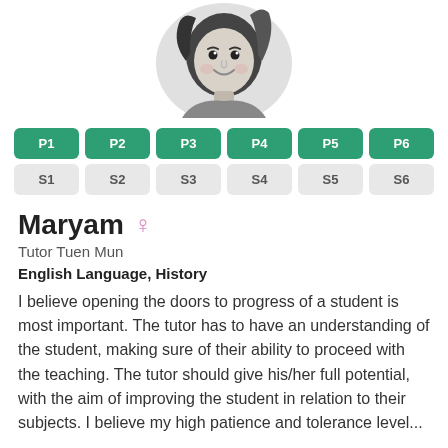[Figure (illustration): Cartoon avatar of a girl with dark hair, smiling, shown from the shoulders up inside a circular frame]
| P1 | P2 | P3 | P4 | P5 | P6 |
| --- | --- | --- | --- | --- | --- |
| S1 | S2 | S3 | S4 | S5 | S6 |
Maryam
Tutor Tuen Mun
English Language, History
I believe opening the doors to progress of a student is most important. The tutor has to have an understanding of the student, making sure of their ability to proceed with the teaching. The tutor should give his/her full potential, with the aim of improving the student in relation to their subjects. I believe my high patience and tolerance level...